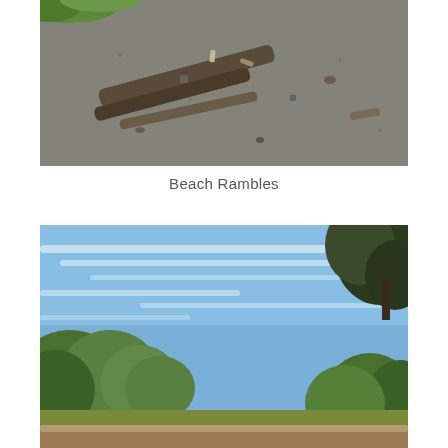[Figure (photo): Close-up photo of a sandy beach with driftwood logs, scattered debris, pebbles, and some green vegetation visible at the top-left corner. The sand appears dark grey and coarse.]
Beach Rambles
[Figure (photo): Landscape photo of an open area with green shrubs and trees on the left and right sides, a wide blue sky with wispy white clouds in the background, and what appears to be a wooden fence or boardwalk in the foreground bottom.]